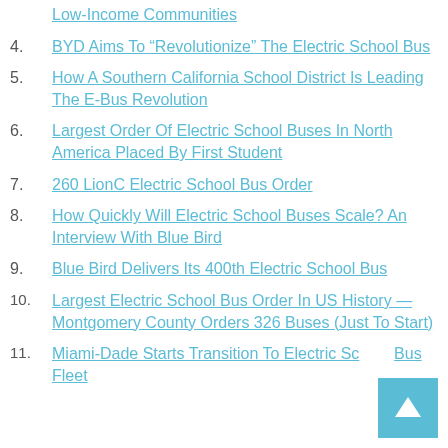Low-Income Communities
4. BYD Aims To “Revolutionize” The Electric School Bus
5. How A Southern California School District Is Leading The E-Bus Revolution
6. Largest Order Of Electric School Buses In North America Placed By First Student
7. 260 LionC Electric School Bus Order
8. How Quickly Will Electric School Buses Scale? An Interview With Blue Bird
9. Blue Bird Delivers Its 400th Electric School Bus
10. Largest Electric School Bus Order In US History — Montgomery County Orders 326 Buses (Just To Start)
11. Miami-Dade Starts Transition To Electric School Bus Fleet